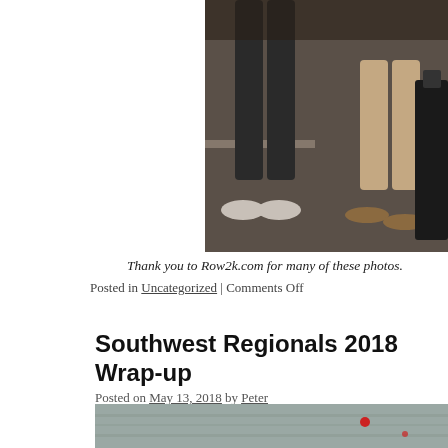[Figure (photo): Lower half of two people standing on pavement — one wearing dark leggings and sneakers, another in shorts and flip-flops with a rolling suitcase]
Thank you to Row2k.com for many of these photos.
Posted in Uncategorized | Comments Off
Southwest Regionals 2018 Wrap-up
Posted on May 13, 2018 by Peter
[Figure (photo): Water surface with small red buoy visible, rowing regatta scene]